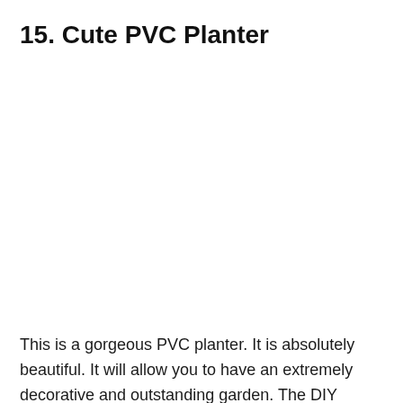15. Cute PVC Planter
[Figure (photo): Image placeholder area for a cute PVC planter (image not visible in source)]
This is a gorgeous PVC planter. It is absolutely beautiful. It will allow you to have an extremely decorative and outstanding garden. The DIY Network will give you all the